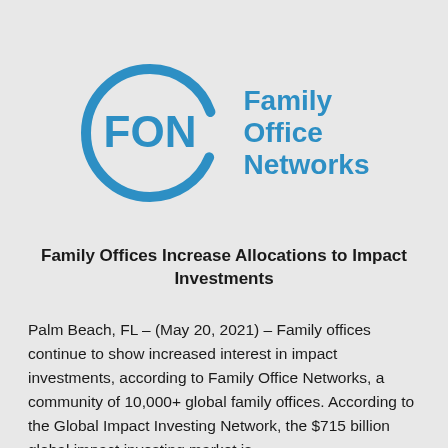[Figure (logo): Family Office Networks (FON) logo: a blue circle containing the letters FON in bold, with 'Family Office Networks' text in blue to the right]
Family Offices Increase Allocations to Impact Investments
Palm Beach, FL – (May 20, 2021) – Family offices continue to show increased interest in impact investments, according to Family Office Networks, a community of 10,000+ global family offices. According to the Global Impact Investing Network, the $715 billion global impact investing market is